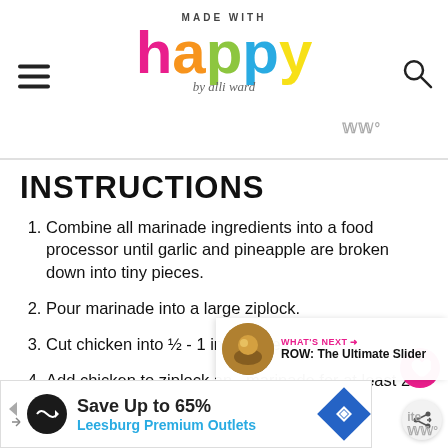MADE WITH happy by alli ward
INSTRUCTIONS
Combine all marinade ingredients into a food processor until garlic and pineapple are broken down into tiny pieces.
Pour marinade into a large ziplock.
Cut chicken into ½ - 1 inch cubes
Add chicken to ziplock and marinade for at least 2 hours.
Save Up to 65% Leesburg Premium Outlets